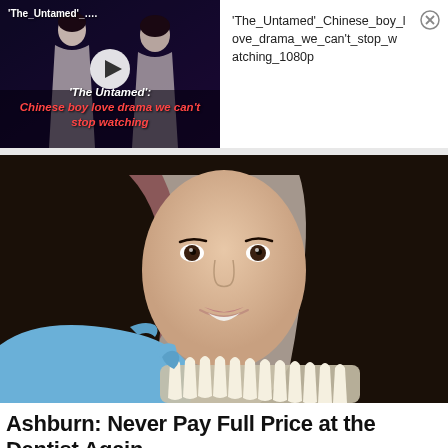[Figure (screenshot): Video thumbnail for 'The Untamed' Chinese boy love drama, showing two figures in white robes with a play button overlay and title text. Label at top-left reads ''The_Untamed'_…']
'The_Untamed'_Chinese_boy_love_drama_we_can't_stop_watching_1080p
[Figure (photo): Close-up photo of a young woman with dark hair smiling at a dentist's office, with a gloved hand holding dental veneers near her mouth]
Ashburn: Never Pay Full Price at the Dentist Again